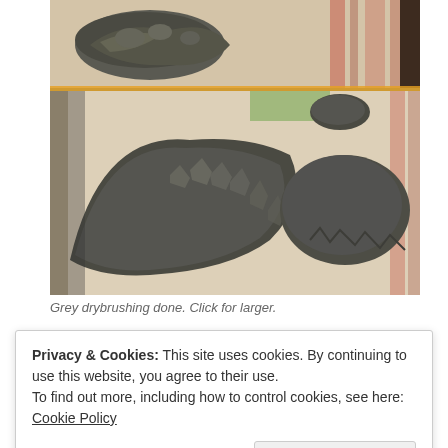[Figure (photo): Two photographs of grey drybrushed rock/terrain miniatures placed on a decorative patterned fabric/rug. Top photo shows smaller rock pieces; bottom photo shows larger elongated rock formations with jagged rocky textures.]
Grey drybrushing done. Click for larger.
Privacy & Cookies: This site uses cookies. By continuing to use this website, you agree to their use.
To find out more, including how to control cookies, see here: Cookie Policy
Close and accept
[Figure (photo): Partial view of another photo at the bottom of the page, showing colorful items.]